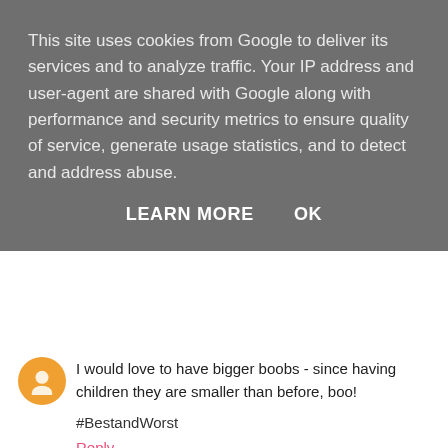This site uses cookies from Google to deliver its services and to analyze traffic. Your IP address and user-agent are shared with Google along with performance and security metrics to ensure quality of service, generate usage statistics, and to detect and address abuse.
LEARN MORE    OK
I would love to have bigger boobs - since having children they are smaller than before, boo!
#BestandWorst
Reply
Unknown  23 November 2016 at 13:19
lovely piece- all of my bras are super padded...thanks kids
#runjumpscrap
Reply